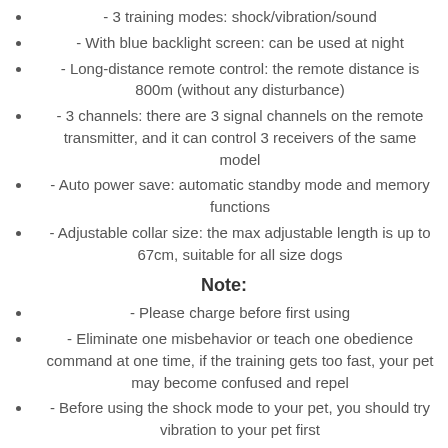- 3 training modes: shock/vibration/sound
- With blue backlight screen: can be used at night
- Long-distance remote control: the remote distance is 800m (without any disturbance)
- 3 channels: there are 3 signal channels on the remote transmitter, and it can control 3 receivers of the same model
- Auto power save: automatic standby mode and memory functions
- Adjustable collar size: the max adjustable length is up to 67cm, suitable for all size dogs
Note:
- Please charge before first using
- Eliminate one misbehavior or teach one obedience command at one time, if the training gets too fast, your pet may become confused and repel
- Before using the shock mode to your pet, you should try vibration to your pet first